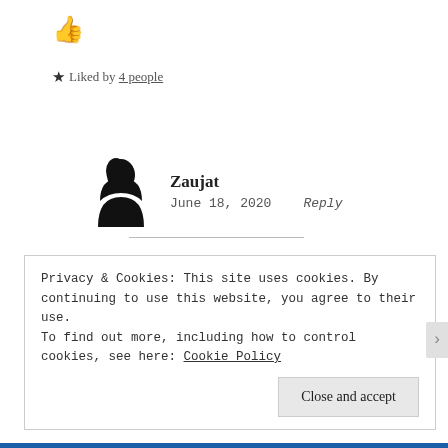[Figure (illustration): Thumbs up emoji icon]
★ Liked by 4 people
[Figure (illustration): Black silhouette avatar of a person with hijab]
Zaujat
June 18, 2020    Reply
[Figure (illustration): Two red heart emojis]
Privacy & Cookies: This site uses cookies. By continuing to use this website, you agree to their use. To find out more, including how to control cookies, see here: Cookie Policy
Close and accept